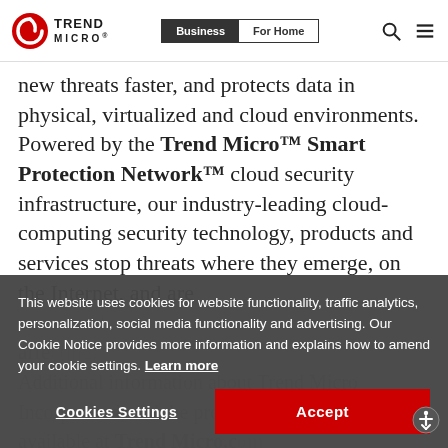Trend Micro | Business | For Home
new threats faster, and protects data in physical, virtualized and cloud environments. Powered by the Trend Micro™ Smart Protection Network™ cloud security infrastructure, our industry-leading cloud-computing security technology, products and services stop threats where they emerge, on the Internet, and are supported... affecting... Additional information about Trend Micro Incorporated and the products/services are available at Trend Micro.com ... Trend Micro.
This website uses cookies for website functionality, traffic analytics, personalization, social media functionality and advertising. Our Cookie Notice provides more information and explains how to amend your cookie settings. Learn more
Cookies Settings | Accept